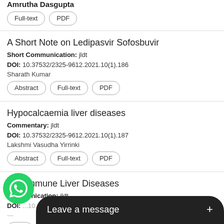Amrutha Dasgupta
Full-text | PDF
A Short Note on Ledipasvir Sofosbuvir
Short Communication: jldt
DOI: 10.37532/2325-9612.2021.10(1).186
Sharath Kumar
Abstract | Full-text | PDF
Hypocalcaemia liver diseases
Commentary: jldt
DOI: 10.37532/2325-9612.2021.10(1).187
Lakshmi Vasudha Yirrinki
Abstract | Full-text | PDF
Autoimmune Liver Diseases
Communication: jldt
DOI: 10.37532/2325-9612.2021.10(1).189
Abstract (partially visible)